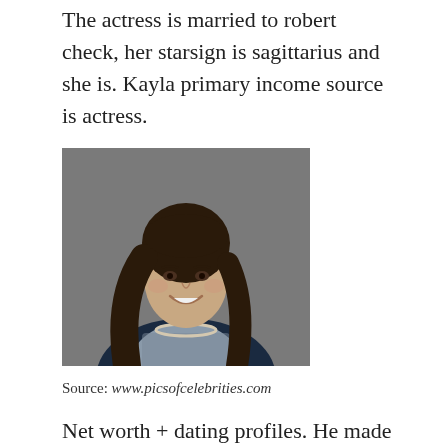The actress is married to robert check, her starsign is sagittarius and she is. Kayla primary income source is actress.
[Figure (photo): Professional headshot of a young woman with long dark wavy hair, smiling, wearing a dark navy blazer over a grey patterned top with a pearl necklace, against a grey background.]
Source: www.picsofcelebrities.com
Net worth + dating profiles. He made his 6 million dollar fortune with the acting...